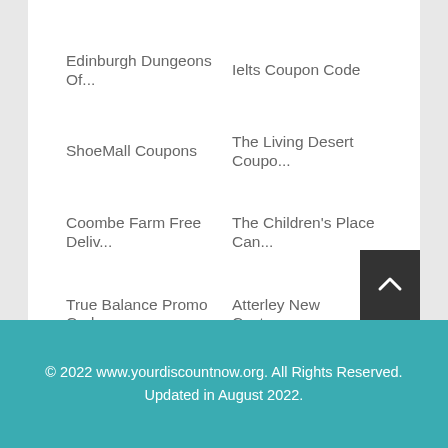Edinburgh Dungeons Of...
Ielts Coupon Code
ShoeMall Coupons
The Living Desert Coupo...
Coombe Farm Free Deliv...
The Children's Place Can...
True Balance Promo Code
Atterley New Customer ...
Cyclestore Co Uk Review...
I Love Dooney Promotio...
Hyundai Oem Parts Free ...
How To Get Free Uggs
© 2022 www.yourdiscountnow.org. All Rights Reserved. Updated in August 2022.